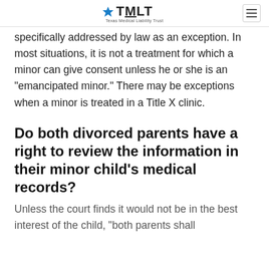TMLT
specifically addressed by law as an exception. In most situations, it is not a treatment for which a minor can give consent unless he or she is an "emancipated minor." There may be exceptions when a minor is treated in a Title X clinic.
Do both divorced parents have a right to review the information in their minor child's medical records?
Unless the court finds it would not be in the best interest of the child, "both parents shall